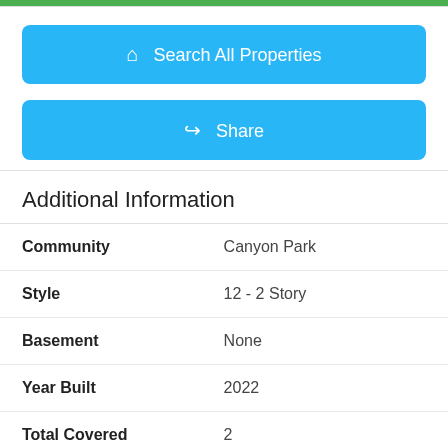[Figure (other): Blue button with house icon and text 'Search All Properties']
[Figure (other): Blue button with share icon and text 'Share']
Additional Information
| Field | Value |
| --- | --- |
| Community | Canyon Park |
| Style | 12 - 2 Story |
| Basement | None |
| Year Built | 2022 |
| Total Covered | 2 |